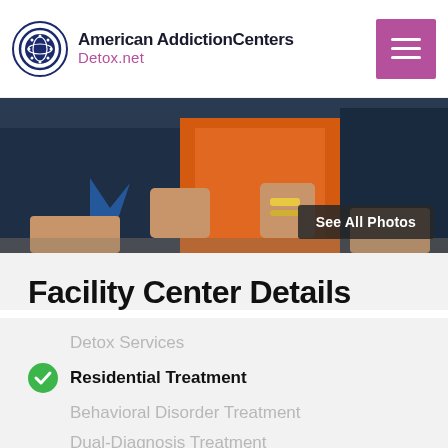American Addiction Centers Detox.net
[Figure (photo): Photo of people sitting together at a table, one wearing an orange shirt, in a group setting at an addiction treatment facility. A 'See All Photos' button overlay is visible in the bottom right.]
Facility Center Details
Detox Services
Residential Treatment
Behavioral Disorder Treatment
Dual-Diagnosis Treatment
Inpatient